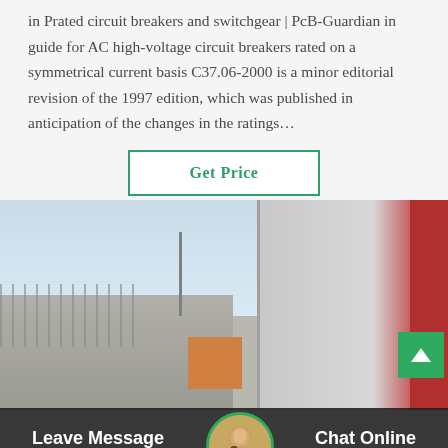in Prated circuit breakers and switchgear | PcB-Guardian in guide for AC high-voltage circuit breakers rated on a symmetrical current basis C37.06-2000 is a minor editorial revision of the 1997 edition, which was published in anticipation of the changes in the ratings…
Get Price
[Figure (photo): Outdoor electrical substation or industrial yard with fencing, a tall transmission tower in the background, and large electrical equipment cabinets/switchgear boxes on the right side. A yellow/orange truck or vehicle is visible in the mid-ground. Clear sky in the background.]
Leave Message
Chat Online